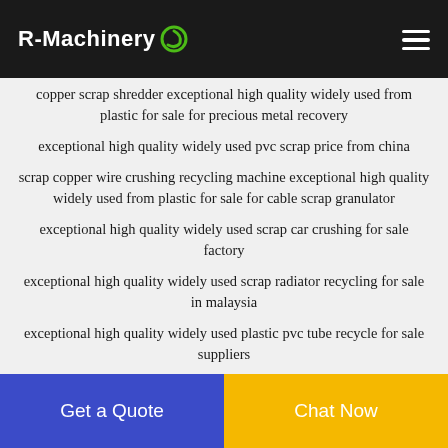R-Machinery
copper scrap shredder exceptional high quality widely used from plastic for sale for precious metal recovery
exceptional high quality widely used pvc scrap price from china
scrap copper wire crushing recycling machine exceptional high quality widely used from plastic for sale for cable scrap granulator
exceptional high quality widely used scrap car crushing for sale factory
exceptional high quality widely used scrap radiator recycling for sale in malaysia
exceptional high quality widely used plastic pvc tube recycle for sale suppliers
exceptional high quality widely used pvc wire scrap for
Get a Quote | Chat Now